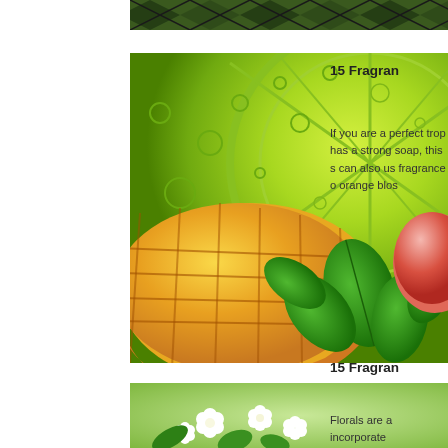[Figure (photo): Partial cropped image at top showing dark checkered/argyle pattern with green tones]
[Figure (photo): Tropical fruit composition: sliced lime with bubbles background, diced mango, fresh basil leaves, and half an apple]
15 Fragran
If you are a perfect trop has a strong soap, this s can also us fragrance o orange blos
[Figure (photo): White flowers (lilac/cherry blossom) with green leaves and blurred green background]
15 Fragran
Florals are a incorporate